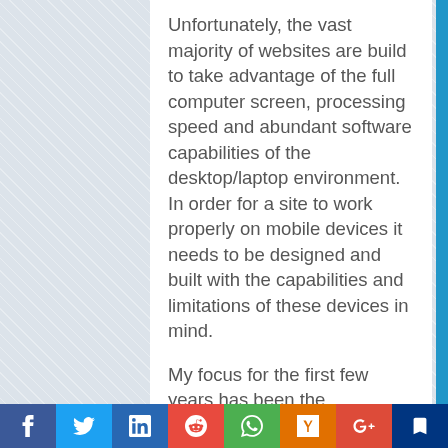Unfortunately, the vast majority of websites are build to take advantage of the full computer screen, processing speed and abundant software capabilities of the desktop/laptop environment. In order for a site to work properly on mobile devices it needs to be designed and built with the capabilities and limitations of these devices in mind.
My focus for the first few years has been the independent music community. I am now looking at other industries which can benefit from the excellent mobile web user experience I have discovered and am deploying; my wife came up with the idea for restaurants after becoming frustrated with trying to use
[Figure (infographic): Social media sharing bar with icons for Facebook, Twitter, LinkedIn, Reddit, WhatsApp, Hacker News, Google+, and Booking]